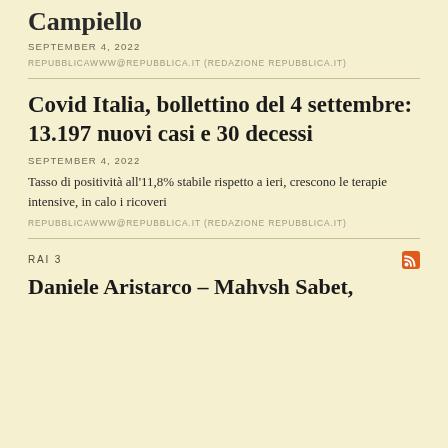Campiello
SEPTEMBER 4, 2022
REPUBBLICAWWW@REPUBBLICA.IT (REDAZIONE REPUBBLICA.IT)
Covid Italia, bollettino del 4 settembre: 13.197 nuovi casi e 30 decessi
SEPTEMBER 4, 2022
Tasso di positività all'11,8% stabile rispetto a ieri, crescono le terapie intensive, in calo i ricoveri
REPUBBLICAWWW@REPUBBLICA.IT (REDAZIONE REPUBBLICA.IT)
RAI 3
Daniele Aristarco - Mahvsh Sabet,